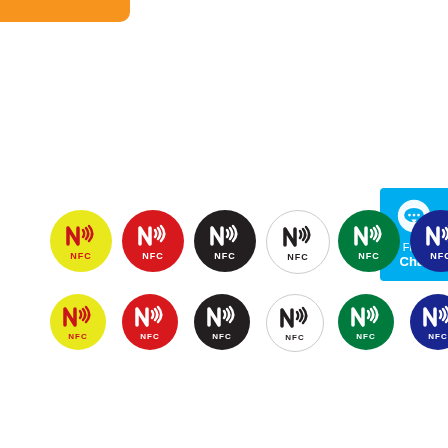[Figure (illustration): Orange decorative bar at top left corner of the page]
[Figure (illustration): Free Chat widget button on the right side with speech bubble icon]
[Figure (illustration): 12 NFC sticker badges in two rows of 6, showing colors: yellow, red, black, white, green, navy blue. Each badge is a circle with an NFC logo (N with signal waves) and the text NFC. Row 1 badges are slightly larger than row 2.]